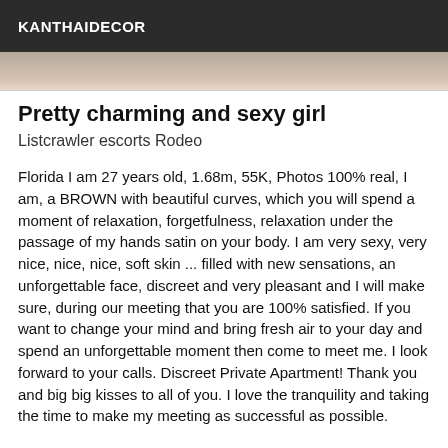KANTHAIDECOR
[Figure (photo): Partial image strip showing a blurred/cropped photo at the top of the content area]
Pretty charming and sexy girl
Listcrawler escorts Rodeo
Florida I am 27 years old, 1.68m, 55K, Photos 100% real, I am, a BROWN with beautiful curves, which you will spend a moment of relaxation, forgetfulness, relaxation under the passage of my hands satin on your body. I am very sexy, very nice, nice, nice, soft skin ... filled with new sensations, an unforgettable face, discreet and very pleasant and I will make sure, during our meeting that you are 100% satisfied. If you want to change your mind and bring fresh air to your day and spend an unforgettable moment then come to meet me. I look forward to your calls. Discreet Private Apartment! Thank you and big big kisses to all of you. I love the tranquility and taking the time to make my meeting as successful as possible.